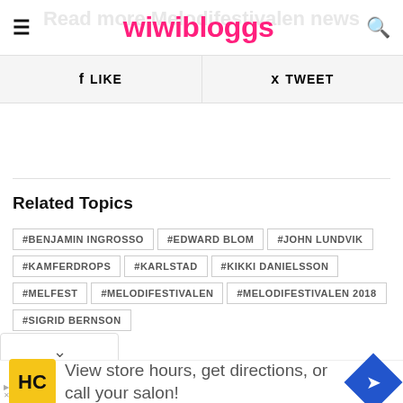wiwibloggs
f LIKE   🐦 TWEET
Related Topics
#BENJAMIN INGROSSO
#EDWARD BLOM
#JOHN LUNDVIK
#KAMFERDROPS
#KARLSTAD
#KIKKI DANIELSSON
#MELFEST
#MELODIFESTIVALEN
#MELODIFESTIVALEN 2018
#SIGRID BERNSON
[Figure (screenshot): Advertisement banner: HC logo, 'View store hours, get directions, or call your salon!' with navigation icon]